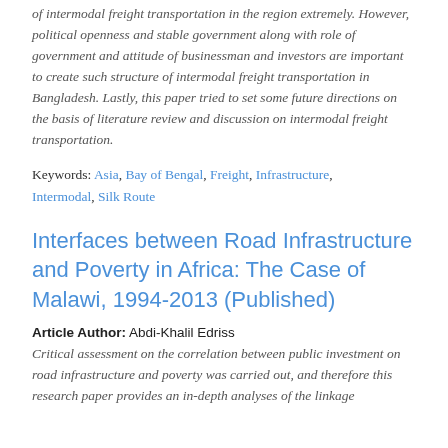of intermodal freight transportation in the region extremely. However, political openness and stable government along with role of government and attitude of businessman and investors are important to create such structure of intermodal freight transportation in Bangladesh. Lastly, this paper tried to set some future directions on the basis of literature review and discussion on intermodal freight transportation.
Keywords: Asia, Bay of Bengal, Freight, Infrastructure, Intermodal, Silk Route
Interfaces between Road Infrastructure and Poverty in Africa: The Case of Malawi, 1994-2013 (Published)
Article Author: Abdi-Khalil Edriss
Critical assessment on the correlation between public investment on road infrastructure and poverty was carried out, and therefore this research paper provides an in-depth analyses of the linkage